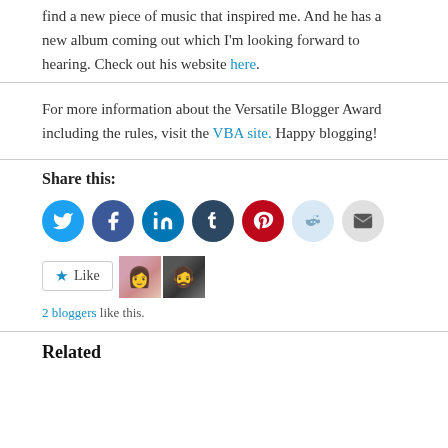find a new piece of music that inspired me. And he has a new album coming out which I'm looking forward to hearing. Check out his website here.
For more information about the Versatile Blogger Award including the rules, visit the VBA site. Happy blogging!
Share this:
[Figure (infographic): Row of social share icon buttons: Twitter (blue), Facebook (blue), LinkedIn (teal), Tumblr (dark navy), Pinterest (red), Reddit (light blue), Email (grey)]
[Figure (infographic): Like button with star icon, and two blogger avatar thumbnails. Text: 2 bloggers like this.]